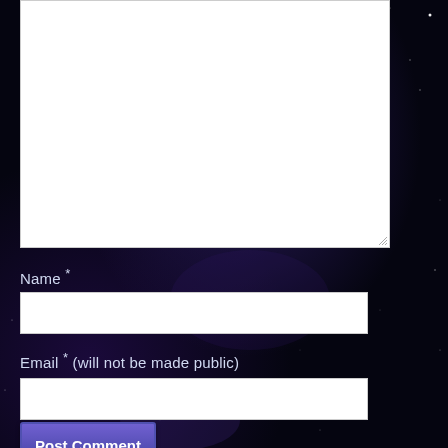[Figure (screenshot): White textarea input box with resize handle at bottom-right, partially visible at top of page]
Name *
[Figure (screenshot): White text input field for Name]
Email * (will not be made public)
[Figure (screenshot): White text input field for Email]
[Figure (screenshot): Purple 'Post Comment' button]